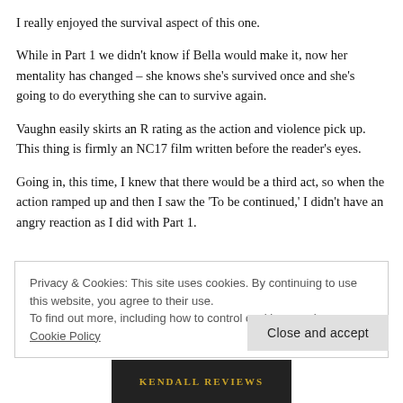I really enjoyed the survival aspect of this one.
While in Part 1 we didn't know if Bella would make it, now her mentality has changed – she knows she's survived once and she's going to do everything she can to survive again.
Vaughn easily skirts an R rating as the action and violence pick up. This thing is firmly an NC17 film written before the reader's eyes.
Going in, this time, I knew that there would be a third act, so when the action ramped up and then I saw the 'To be continued,' I didn't have an angry reaction as I did with Part 1.
Privacy & Cookies: This site uses cookies. By continuing to use this website, you agree to their use. To find out more, including how to control cookies, see here: Cookie Policy
Close and accept
[Figure (other): Bottom image showing 'KENDALL REVIEWS' text in gold letters on dark background]